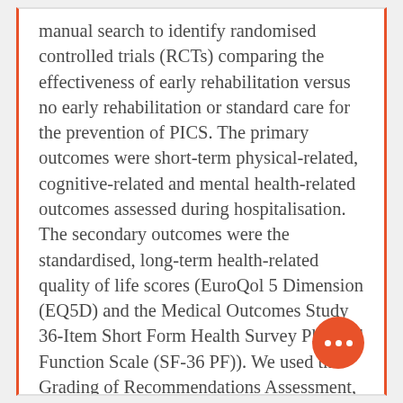manual search to identify randomised controlled trials (RCTs) comparing the effectiveness of early rehabilitation versus no early rehabilitation or standard care for the prevention of PICS. The primary outcomes were short-term physical-related, cognitive-related and mental health-related outcomes assessed during hospitalisation. The secondary outcomes were the standardised, long-term health-related quality of life scores (EuroQol 5 Dimension (EQ5D) and the Medical Outcomes Study 36-Item Short Form Health Survey Physical Function Scale (SF-36 PF)). We used the Grading of Recommendations Assessment, Development and Evaluation approach to rate the quality of evidence (QoE).